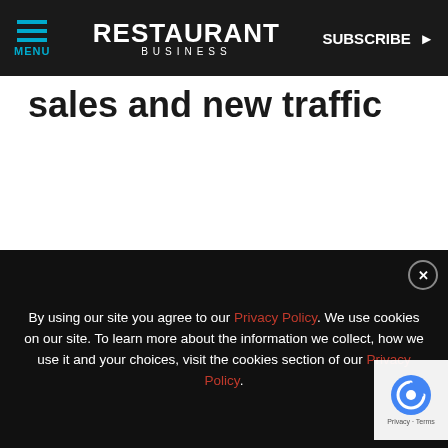MENU | RESTAURANT BUSINESS | SUBSCRIBE >
sales and new traffic
MORE FROM OUR PARTNERS
[Figure (screenshot): Partner article thumbnail showing people in white coats and Wright Brand bacon ad banner with text 'OUR HERITAGE, YOUR LEGACY']
By using our site you agree to our Privacy Policy. We use cookies on our site. To learn more about the information we collect, how we use it and your choices, visit the cookies section of our Privacy Policy.